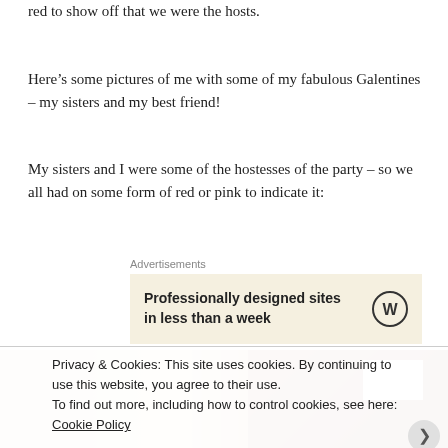red to show off that we were the hosts.
Here’s some pictures of me with some of my fabulous Galentines – my sisters and my best friend!
My sisters and I were some of the hostesses of the party – so we all had on some form of red or pink to indicate it:
[Figure (screenshot): WordPress advertisement: 'Professionally designed sites in less than a week' with WordPress logo]
[Figure (photo): Partial photo showing warm-toned room interior with wooden furniture and white card/envelope]
Privacy & Cookies: This site uses cookies. By continuing to use this website, you agree to their use.
To find out more, including how to control cookies, see here: Cookie Policy
Close and accept